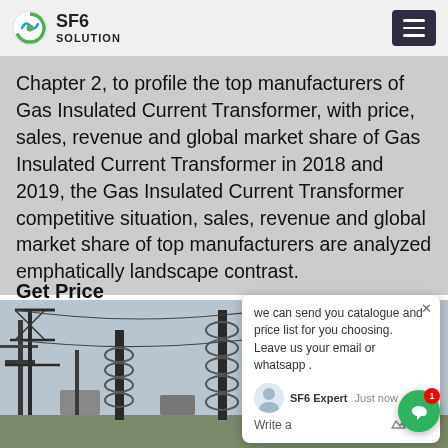SF6 SOLUTION
Chapter 2, to profile the top manufacturers of Gas Insulated Current Transformer, with price, sales, revenue and global market share of Gas Insulated Current Transformer in 2018 and 2019, the Gas Insulated Current Transformer competitive situation, sales, revenue and global market share of top manufacturers are analyzed emphatically landscape contrast.
Get Price
[Figure (photo): Electrical substation with tall insulators, transmission towers and power lines against a sky background]
we can send you catalogue and price list for you choosing. Leave us your email or whatsapp .